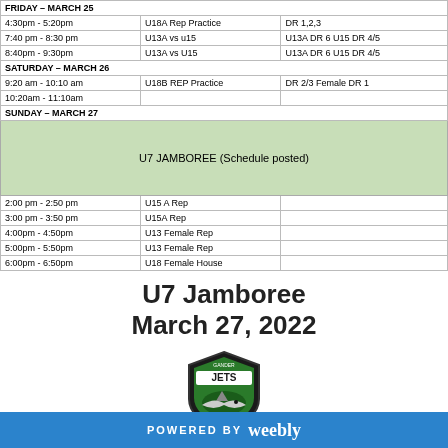| Time | Event | Location |
| --- | --- | --- |
| FRIDAY – MARCH 25 |  |  |
| 4:30pm - 5:20pm | U18A Rep Practice | DR 1,2,3 |
| 7:40 pm - 8:30 pm | U13A vs u15 | U13A DR 6 U15 DR 4/5 |
| 8:40pm - 9:30pm | U13A vs U15 | U13A DR 6 U15 DR 4/5 |
| SATURDAY – MARCH 26 |  |  |
| 9:20 am - 10:10 am | U18B REP Practice | DR 2/3 Female DR 1 |
| 10:20am - 11:10am |  |  |
| SUNDAY – MARCH 27 |  |  |
|  | U7 JAMBOREE (Schedule posted) |  |
| 2:00 pm - 2:50 pm | U15 A Rep |  |
| 3:00 pm - 3:50 pm | U15A Rep |  |
| 4:00pm - 4:50pm | U13 Female Rep |  |
| 5:00pm - 5:50pm | U13 Female Rep |  |
| 6:00pm - 6:50pm | U18 Female House |  |
U7 Jamboree
March 27, 2022
[Figure (logo): Gander Jets hockey team logo - shield shape with JETS text and shark/jet graphic]
| Home Bench | Time | Visitors Bench |
| --- | --- | --- |
| Stephenville 1 vs. Corner Brook 1 | 9:00-9:45 | Stephenville 2 vs. Corner Brook 2 |
POWERED BY weebly